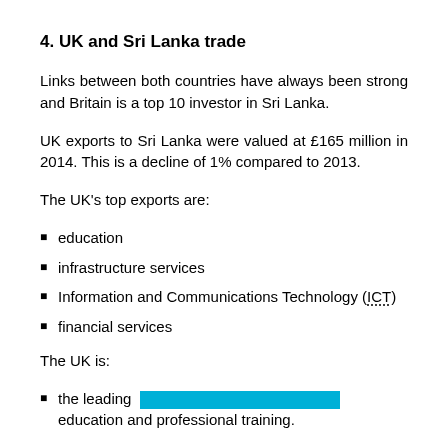4. UK and Sri Lanka trade
Links between both countries have always been strong and Britain is a top 10 investor in Sri Lanka.
UK exports to Sri Lanka were valued at £165 million in 2014. This is a decline of 1% compared to 2013.
The UK's top exports are:
education
infrastructure services
Information and Communications Technology (ICT)
financial services
The UK is:
the leading [REDACTED] education and professional training.